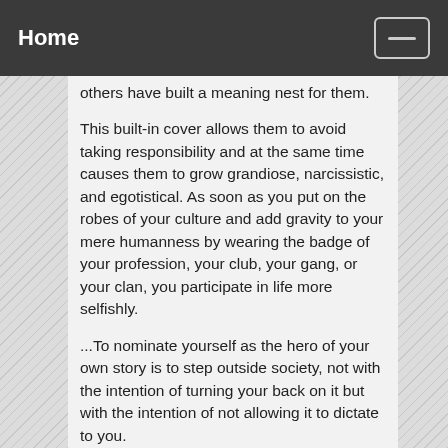Home
others have built a meaning nest for them.
This built-in cover allows them to avoid taking responsibility and at the same time causes them to grow grandiose, narcissistic, and egotistical. As soon as you put on the robes of your culture and add gravity to your mere humanness by wearing the badge of your profession, your club, your gang, or your clan, you participate in life more selfishly.
...To nominate yourself as the hero of your own story is to step outside society, not with the intention of turning your back on it but with the intention of not allowing it to dictate to you.
...When I nominate myself and begin to make my meaning, I can't then quote Scripture, the law, an opinion poll, expert evidence, tradition, or anything else as the reason for my life decisions. What I must say is, "I've thought it over and decided."